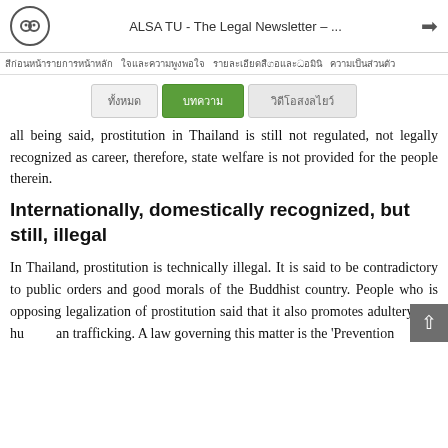ALSA TU - The Legal Newsletter – ...
Thai navigation bar text
[Figure (screenshot): Tab buttons: left grey tab, center green active tab, right grey tab with Thai text labels]
all being said, prostitution in Thailand is still not regulated, not legally recognized as career, therefore, state welfare is not provided for the people therein.
Internationally, domestically recognized, but still, illegal
In Thailand, prostitution is technically illegal. It is said to be contradictory to public orders and good morals of the Buddhist country. People who is opposing legalization of prostitution said that it also promotes adultery and human trafficking. A law governing this matter is the 'Prevention